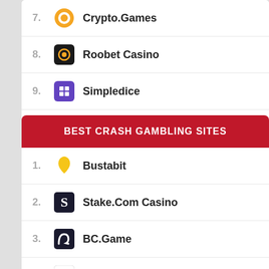7. Crypto.Games
8. Roobet Casino
9. Simpledice
10. DuckDice
BEST CRASH GAMBLING SITES
1. Bustabit
2. Stake.Com Casino
3. BC.Game
4. Rollbit
5. Duelbits
6. BCH.Games